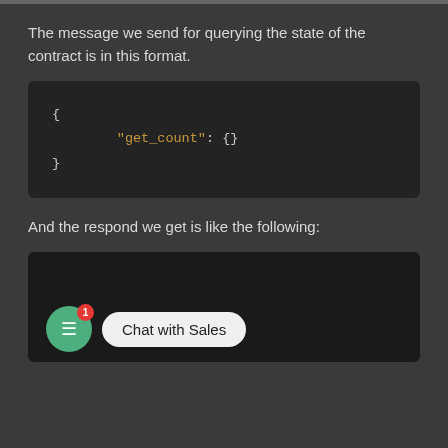The message we send for querying the state of the contract is in this format.
[Figure (screenshot): Dark code block showing JSON: { "get_count": {} }]
And the respond we get is like the following:
[Figure (screenshot): Dark code block with a chat widget overlay showing a green chat button with badge '1' and a bubble saying 'Chat with Sales']